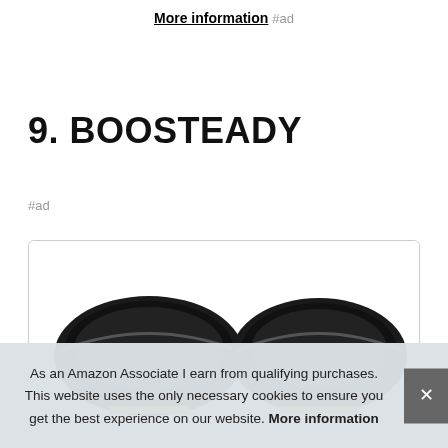More information #ad
9. BOOSTEADY
#ad
[Figure (photo): Product image showing two black zipper cases side by side inside a bordered box]
As an Amazon Associate I earn from qualifying purchases. This website uses the only necessary cookies to ensure you get the best experience on our website. More information